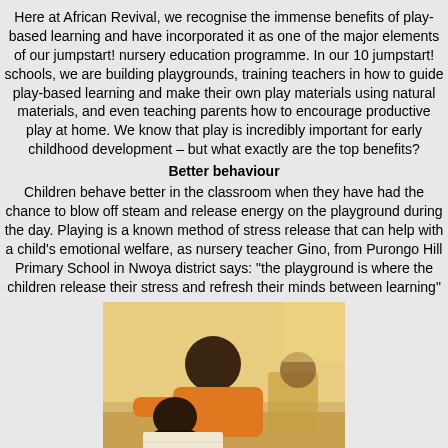Here at African Revival, we recognise the immense benefits of play-based learning and have incorporated it as one of the major elements of our jumpstart! nursery education programme. In our 10 jumpstart! schools, we are building playgrounds, training teachers in how to guide play-based learning and make their own play materials using natural materials, and even teaching parents how to encourage productive play at home. We know that play is incredibly important for early childhood development – but what exactly are the top benefits?
Better behaviour
Children behave better in the classroom when they have had the chance to blow off steam and release energy on the playground during the day. Playing is a known method of stress release that can help with a child's emotional welfare, as nursery teacher Gino, from Purongo Hill Primary School in Nwoya district says: "the playground is where the children release their stress and refresh their minds between learning"
[Figure (photo): Photo of a teacher leaning over and helping a young student who is bent over their work, in a classroom setting. The teacher is wearing an orange shirt.]